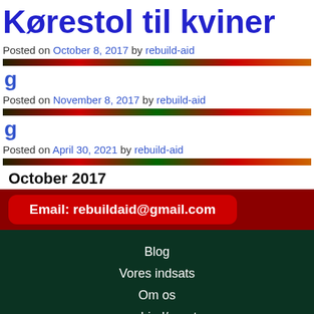Kørestol til kviner
Posted on October 8, 2017 by rebuild-aid
Posted on November 8, 2017 by rebuild-aid
Posted on April 30, 2021 by rebuild-aid
October 2017
Email: rebuildaid@gmail.com
Blog
Vores indsats
Om os
samarbjed/parnter